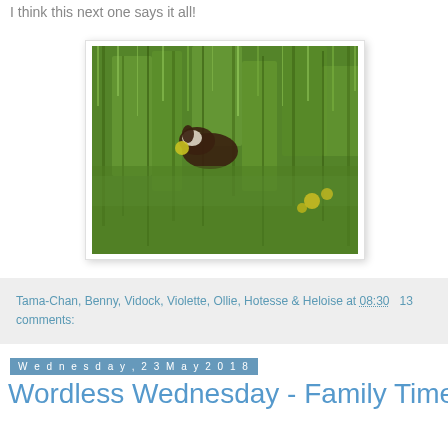I think this next one says it all!
[Figure (photo): A dog partially hidden in tall green grass, carrying a yellow ball in its mouth. The photo has a white border/frame with a slight shadow effect.]
Tama-Chan, Benny, Vidock, Violette, Ollie, Hotesse & Heloise at 08:30   13 comments:
Wednesday, 23 May 2018
Wordless Wednesday - Family Time!